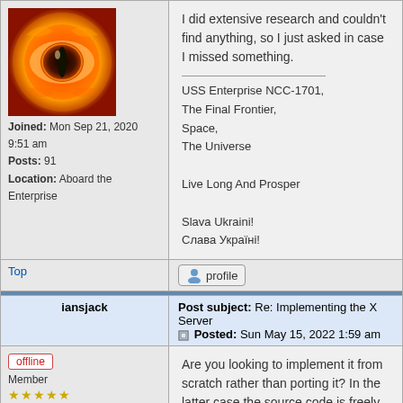[Figure (illustration): Eye of Sauron style avatar - glowing orange/red eye on dark background]
Joined: Mon Sep 21, 2020 9:51 am
Posts: 91
Location: Aboard the Enterprise
I did extensive research and couldn't find anything, so I just asked in case I missed something.

_______________
USS Enterprise NCC-1701,
The Final Frontier,
Space,
The Universe

Live Long And Prosper

Slava Ukraini!
Слава Україні!
Top
[Figure (illustration): Profile button with user icon]
iansjack
Post subject: Re: Implementing the X Server
Posted: Sun May 15, 2022 1:59 am
[Figure (illustration): Offline badge]
Member
★★★★★
Are you looking to implement it from scratch rather than porting it? In the latter case the source code is freely